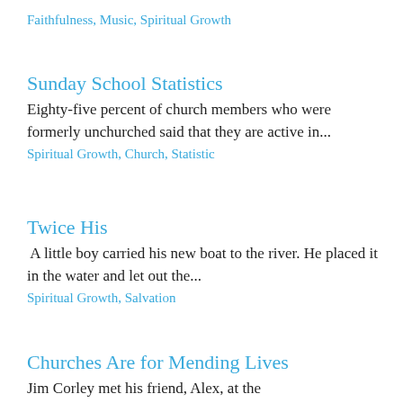Faithfulness, Music, Spiritual Growth
Sunday School Statistics
Eighty-five percent of church members who were formerly unchurched said that they are active in...
Spiritual Growth, Church, Statistic
Twice His
A little boy carried his new boat to the river. He placed it in the water and let out the...
Spiritual Growth, Salvation
Churches Are for Mending Lives
Jim Corley met his friend, Alex, at the